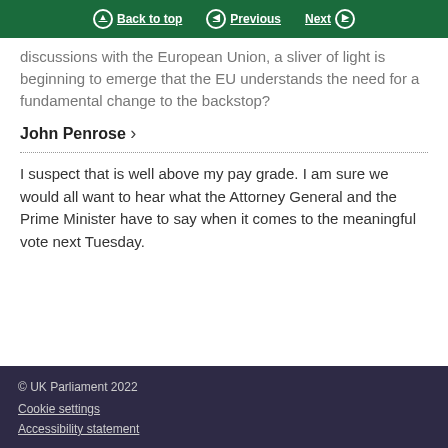Back to top | Previous | Next
discussions with the European Union, a sliver of light is beginning to emerge that the EU understands the need for a fundamental change to the backstop?
John Penrose >
I suspect that is well above my pay grade. I am sure we would all want to hear what the Attorney General and the Prime Minister have to say when it comes to the meaningful vote next Tuesday.
© UK Parliament 2022
Cookie settings
Accessibility statement